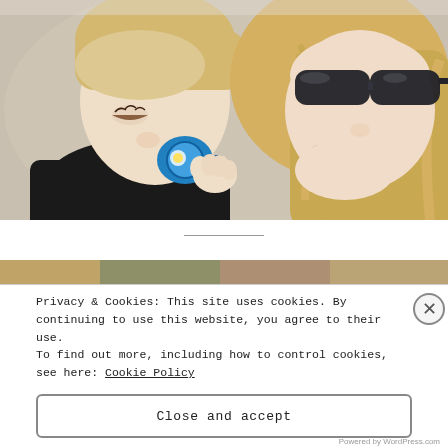[Figure (photo): A woman with blonde hair and dark sunglasses kissing a young toddler boy who has a blue pacifier in his mouth. The boy wears a dark shirt.]
[Figure (photo): Partial thumbnail strip of additional photos visible behind cookie banner]
Privacy & Cookies: This site uses cookies. By continuing to use this website, you agree to their use.
To find out more, including how to control cookies, see here: Cookie Policy
Close and accept